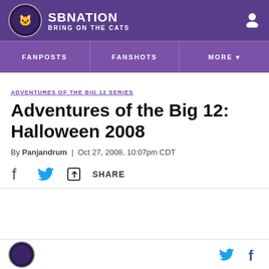SBNATION | BRING ON THE CATS
FANPOSTS | FANSHOTS | MORE
ADVENTURES OF THE BIG 12 SERIES
Adventures of the Big 12: Halloween 2008
By Panjandrum | Oct 27, 2008, 10:07pm CDT
SHARE